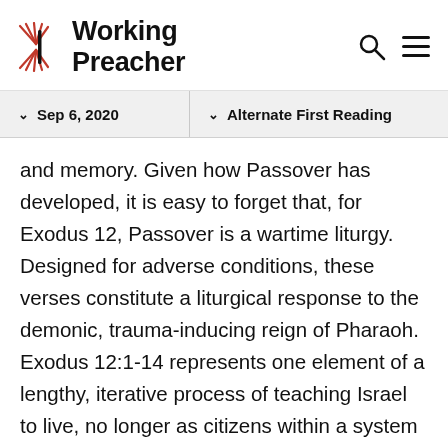Working Preacher
Sep 6, 2020  |  Alternate First Reading
and memory. Given how Passover has developed, it is easy to forget that, for Exodus 12, Passover is a wartime liturgy. Designed for adverse conditions, these verses constitute a liturgical response to the demonic, trauma-inducing reign of Pharaoh. Exodus 12:1-14 represents one element of a lengthy, iterative process of teaching Israel to live, no longer as citizens within a system of domination, but rather as recipients of the kind but fierce benevolence of Yhwh.